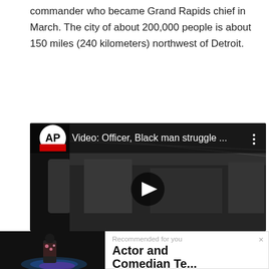commander who became Grand Rapids chief in March. The city of about 200,000 people is about 150 miles (240 kilometers) northwest of Detroit.
[Figure (screenshot): AP video thumbnail showing 'Video: Officer, Black man struggle ...' with dark background street scene and play button]
[Figure (screenshot): Recommended video thumbnail showing a man in floral shirt standing by a pool at night, with overlay 'Recommended for you' and title 'Actor and Comedian Te...' from sdvoice.info with AddThis badge]